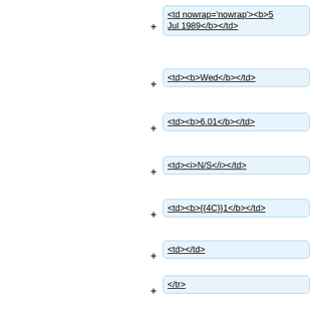+ <td nowrap='nowrap'><b>5 Jul 1989</b></td>
+ <td><b>Wed</b></td>
+ <td><b>6.01</b></td>
+ <td><i>N/S</i></td>
+ <td><b>{{4C}}1</b></td>
+ <td></td>
+ </tr>
+
+ <tr>
+ <td>6</td>
+ <td nowrap='nowrap'><b>12 Jul 1989</b></td>